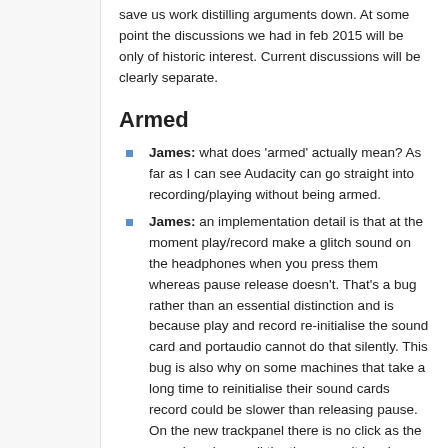save us work distilling arguments down. At some point the discussions we had in feb 2015 will be only of historic interest. Current discussions will be clearly separate.
Armed
James: what does 'armed' actually mean? As far as I can see Audacity can go straight into recording/playing without being armed.
James: an implementation detail is that at the moment play/record make a glitch sound on the headphones when you press them whereas pause release doesn't. That's a bug rather than an essential distinction and is because play and record re-initialise the sound card and portaudio cannot do that silently. This bug is also why on some machines that take a long time to reinitialise their sound cards record could be slower than releasing pause. On the new trackpanel there is no click as the sound card runs all the time once it has been started. This is also good for monitoring as that doesn't have to keep